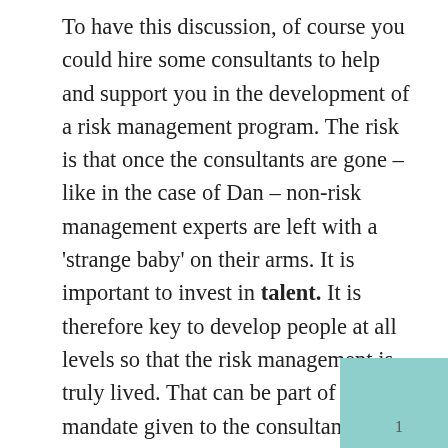To have this discussion, of course you could hire some consultants to help and support you in the development of a risk management program. The risk is that once the consultants are gone – like in the case of Dan – non-risk management experts are left with a 'strange baby' on their arms. It is important to invest in talent. It is therefore key to develop people at all levels so that the risk management is truly lived. That can be part of the mandate given to the consultants, or that can be a decision to train specifically one (or more) employee so that he/she becomes a part-time risk management practitioner.